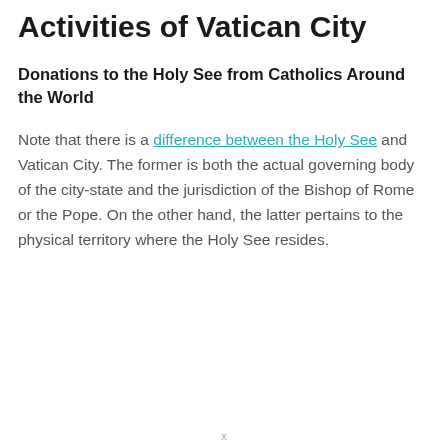Activities of Vatican City
Donations to the Holy See from Catholics Around the World
Note that there is a difference between the Holy See and Vatican City. The former is both the actual governing body of the city-state and the jurisdiction of the Bishop of Rome or the Pope. On the other hand, the latter pertains to the physical territory where the Holy See resides.